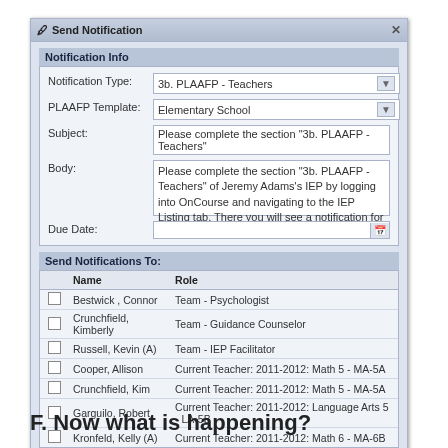[Figure (screenshot): Send Notification dialog box with Notification Info and Send Notifications To sections, including form fields and a table of recipients.]
F. Now what is happening?